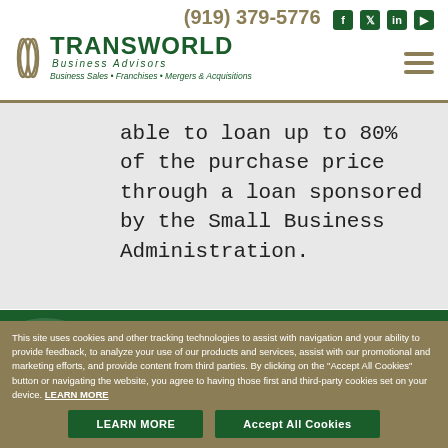(919) 379-5776
[Figure (logo): Transworld Business Advisors logo with tagline: Business Sales • Franchises • Mergers & Acquisitions]
able to loan up to 80% of the purchase price through a loan sponsored by the Small Business Administration.
How Much Money Will It Take To Buy A Small
This site uses cookies and other tracking technologies to assist with navigation and your ability to provide feedback, to analyze your use of our products and services, assist with our promotional and marketing efforts, and provide content from third parties. By clicking on the "Accept All Cookies" button or navigating the website, you agree to having those first and third-party cookies set on your device. LEARN MORE